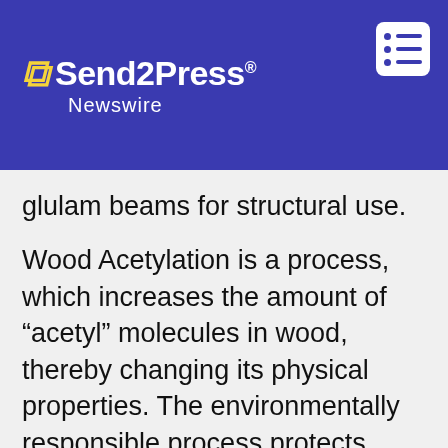Send2Press Newswire
glulam beams for structural use.
Wood Acetylation is a process, which increases the amount of “acetyl” molecules in wood, thereby changing its physical properties. The environmentally responsible process protects wood from rot by making it “inedible” to most micro-organisms and insects, without – unlike some conventional treatments – making it toxic. It also greatly reduces the wood’s tendency to swell and shrink, making it less prone to cracking and ensuring that when painted it requires